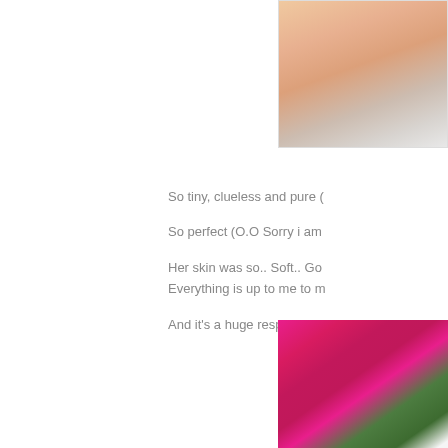[Figure (photo): Close-up photo of a newborn baby's skin and clothing, cropped on the right side of the page]
So tiny, clueless and pure (...)
So perfect (O.O Sorry i am...
Her skin was so.. Soft.. Go... Everything is up to me to m...
And it's a huge responsibili...
[Figure (photo): Close-up photo of pink knitted fabric or garment against a dark background]